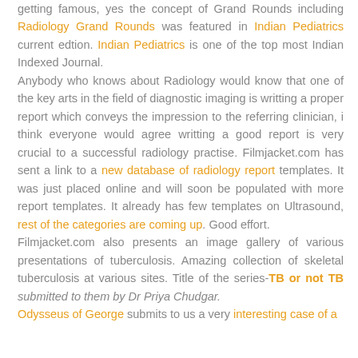getting famous, yes the concept of Grand Rounds including Radiology Grand Rounds was featured in Indian Pediatrics current edtion. Indian Pediatrics is one of the top most Indian Indexed Journal. Anybody who knows about Radiology would know that one of the key arts in the field of diagnostic imaging is writting a proper report which conveys the impression to the referring clinician, i think everyone would agree writting a good report is very crucial to a successful radiology practise. Filmjacket.com has sent a link to a new database of radiology report templates. It was just placed online and will soon be populated with more report templates. It already has few templates on Ultrasound, rest of the categories are coming up. Good effort. Filmjacket.com also presents an image gallery of various presentations of tuberculosis. Amazing collection of skeletal tuberculosis at various sites. Title of the series-TB or not TB submitted to them by Dr Priya Chudgar. Odysseus of George submits to us a very interesting case of a